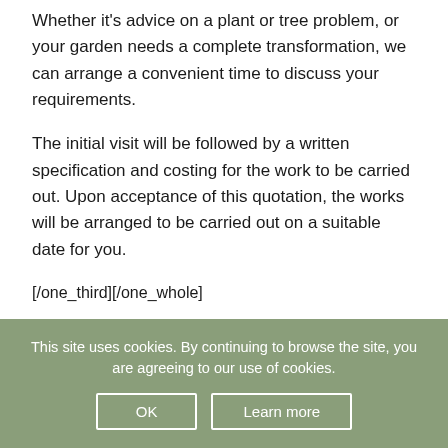Whether it's advice on a plant or tree problem, or your garden needs a complete transformation, we can arrange a convenient time to discuss your requirements.
The initial visit will be followed by a written specification and costing for the work to be carried out. Upon acceptance of this quotation, the works will be arranged to be carried out on a suitable date for you.
[/one_third][/one_whole]
[divider line_type="Full Width Line" custom_height="1/?[heading subtitle_"Professional
This site uses cookies. By continuing to browse the site, you are agreeing to our use of cookies.